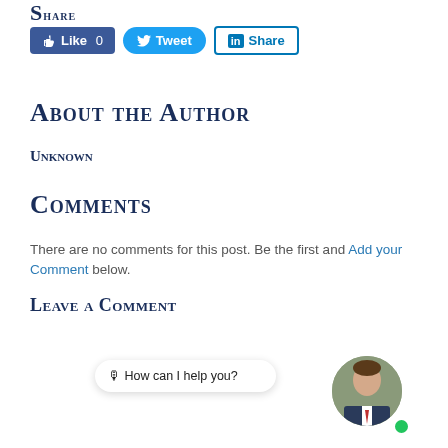Share
[Figure (other): Social share buttons: Like 0 (Facebook), Tweet (Twitter), Share (LinkedIn)]
About the Author
Unknown
Comments
There are no comments for this post. Be the first and Add your Comment below.
Leave a Comment
[Figure (other): Comment form with NAME and EMAIL fields, a chat bubble overlay saying 'How can I help you?' with a photo avatar of a man in a suit and a green online indicator dot]